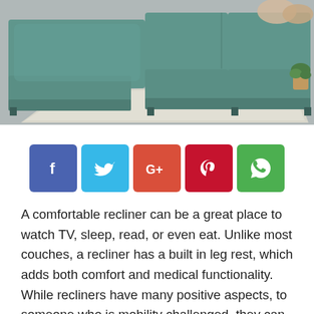[Figure (photo): A green/teal sectional sofa with cushions on a light grey floor with a white/cream speckled area rug. A small potted plant is visible in the upper right corner. The sofa has a chaise lounge on the left side.]
[Figure (infographic): A row of five social media share buttons: Facebook (blue), Twitter (light blue), Google+ (orange-red), Pinterest (dark red), WhatsApp (green).]
A comfortable recliner can be a great place to watch TV, sleep, read, or even eat. Unlike most couches, a recliner has a built in leg rest, which adds both comfort and medical functionality. While recliners have many positive aspects, to someone who is mobility challenged, they can present several mobility based